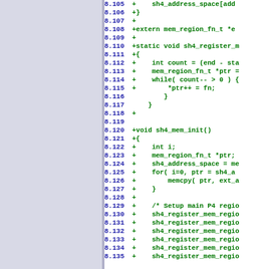[Figure (screenshot): Source code diff view showing C code lines 8.105 through 8.135, with line numbers in bold blue and code content in bold green on white background, left side panel in light blue-grey.]